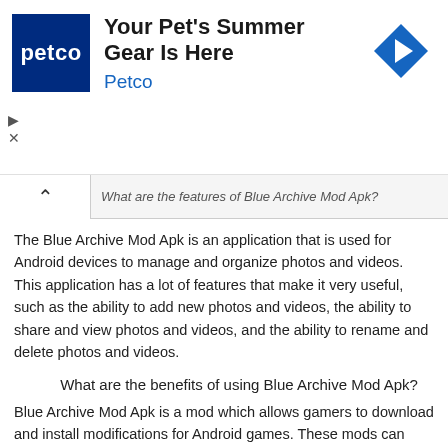[Figure (other): Petco advertisement banner with logo, headline 'Your Pet's Summer Gear Is Here', subtext 'Petco', and a blue navigation/arrow icon on the right]
What are the features of Blue Archive Mod Apk?
The Blue Archive Mod Apk is an application that is used for Android devices to manage and organize photos and videos. This application has a lot of features that make it very useful, such as the ability to add new photos and videos, the ability to share and view photos and videos, and the ability to rename and delete photos and videos.
What are the benefits of using Blue Archive Mod Apk?
Blue Archive Mod Apk is a mod which allows gamers to download and install modifications for Android games. These mods can enhance the gaming experience and make the game more challenging or fun.
Here are some of the benefits of using Blue Archive Mod Apk: